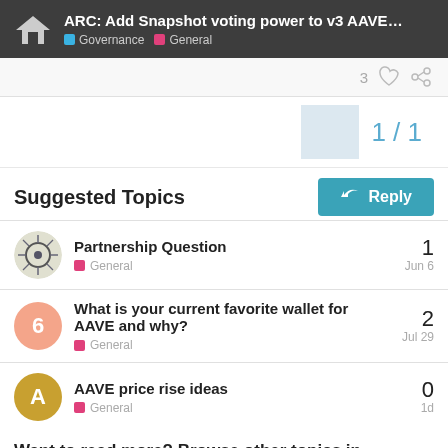ARC: Add Snapshot voting power to v3 AAVE-A... | Governance | General
Suggested Topics
Partnership Question | General | 1 | Jun 6
What is your current favorite wallet for AAVE and why? | General | 2 | Jul 29
AAVE price rise ideas | General | 0 | 1d
Want to read more? Browse other topics in